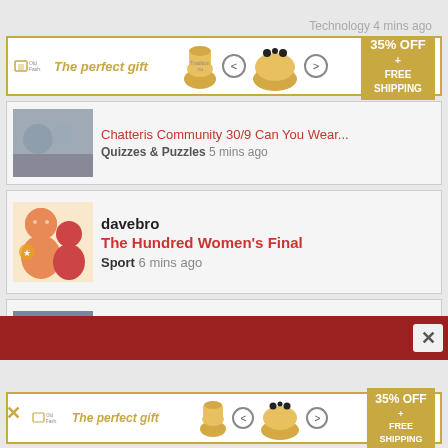Technology 4 mins ago
[Figure (infographic): Advertisement banner: 'The perfect gift' with food product image, navigation arrows, and '35% OFF + FREE SHIPPING' callout]
[Figure (photo): Thumbnail image for Chatteris Community article]
Chatteris Community 30/9 Can You Wear...
Quizzes & Puzzles 5 mins ago
[Figure (illustration): davebro user avatar - orange/red cartoon people icons]
davebro
The Hundred Women's Final
Sport 6 mins ago
[Figure (photo): Thumbnail image for Craven Schools Partnership article]
granny grump
Craven Schools Partnership Name The...
Quizzes & Puzzles 9 mins ago
[Figure (infographic): Bottom advertisement banner: 'The perfect gift' with food product image, navigation arrows, and '35% OFF + FREE SHIPPING' callout]